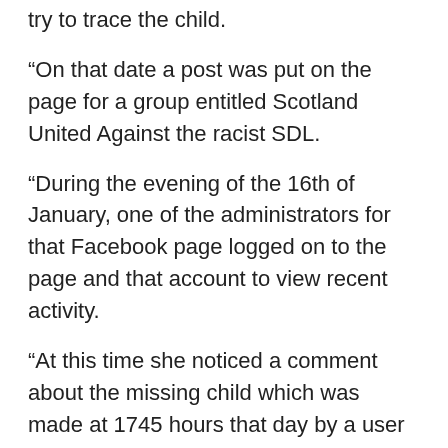try to trace the child.
“On that date a post was put on the page for a group entitled Scotland United Against the racist SDL.
“During the evening of the 16th of January, one of the administrators for that Facebook page logged on to the page and that account to view recent activity.
“At this time she noticed a comment about the missing child which was made at 1745 hours that day by a user named Shaun Moth.
“The comment read ‘Hopefully he’ll be found… under the wheels of a bus’.”
Several other comments were posted on Facebook by Moth and the administrator was “so offended” she decided to hide them from public view.